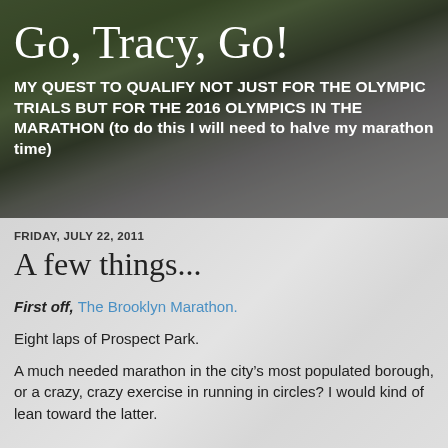Go, Tracy, Go!
MY QUEST TO QUALIFY NOT JUST FOR THE OLYMPIC TRIALS BUT FOR THE 2016 OLYMPICS IN THE MARATHON (to do this I will need to halve my marathon time)
FRIDAY, JULY 22, 2011
A few things...
First off, The Brooklyn Marathon.
Eight laps of Prospect Park.
A much needed marathon in the city’s most populated borough, or a crazy, crazy exercise in running in circles? I would kind of lean toward the latter.